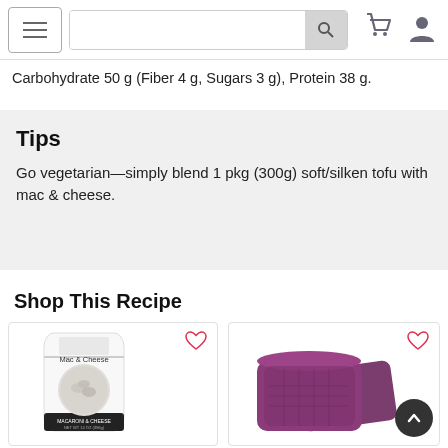Navigation bar with hamburger menu, search box, cart icon, and user icon
Carbohydrate 50 g (Fiber 4 g, Sugars 3 g), Protein 38 g.
Tips
Go vegetarian—simply blend 1 pkg (300g) soft/silken tofu with mac & cheese.
Shop This Recipe
[Figure (photo): Mac & Cheese product bag with bowl image]
[Figure (photo): Purple square food storage container with lid]